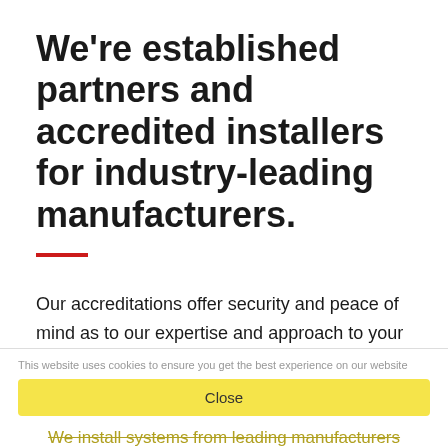We're established partners and accredited installers for industry-leading manufacturers.
Our accreditations offer security and peace of mind as to our expertise and approach to your project, thereby reducing risk and increasing confidence.
This website uses cookies to ensure you get the best experience on our website
Close
We install systems from leading manufacturers